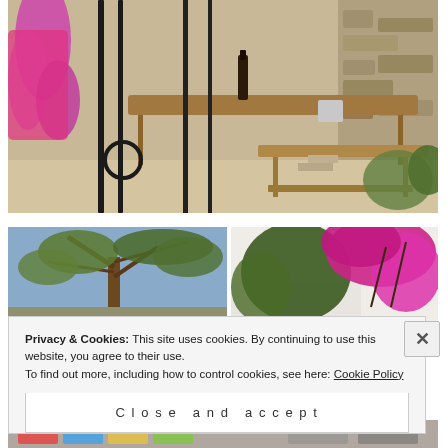[Figure (photo): Outdoor dining area viewed through ornate black iron gate, with wooden table and bench, wine bottle and ice bucket, stone building wall, and pink flowering plants in foreground]
[Figure (photo): Olive tree with branches against blue sky]
[Figure (photo): Bright pink bougainvillea flowers against white wall with green foliage]
[Figure (photo): Partial view of colorful striped items at bottom strip]
Privacy & Cookies: This site uses cookies. By continuing to use this website, you agree to their use.
To find out more, including how to control cookies, see here: Cookie Policy
Close and accept